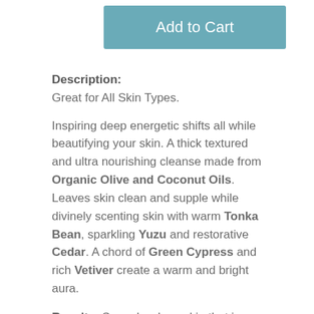[Figure (other): Teal/blue-green 'Add to Cart' button]
Description:
Great for All Skin Types.
Inspiring deep energetic shifts all while beautifying your skin. A thick textured and ultra nourishing cleanse made from Organic Olive and Coconut Oils. Leaves skin clean and supple while divinely scenting skin with warm Tonka Bean, sparkling Yuzu and restorative Cedar. A chord of Green Cypress and rich Vetiver create a warm and bright aura.
Results: Squeaky clean skin that is nourished.